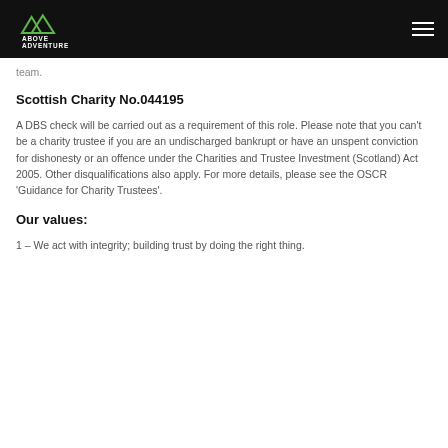Above Adventure
team.
Scottish Charity No.044195
A DBS check will be carried out as a requirement of this role. Please note that you can't be a charity trustee if you are an undischarged bankrupt or have an unspent conviction for dishonesty or an offence under the Charities and Trustee Investment (Scotland) Act 2005. Other disqualifications also apply. For more details, please see the OSCR ‘Guidance for Charity Trustees’.
Our values:
1 – We act with integrity; building trust by doing the right thing.